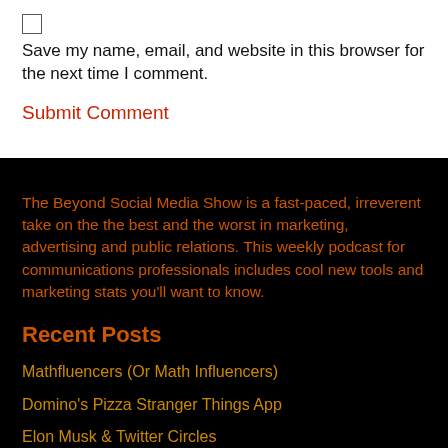Save my name, email, and website in this browser for the next time I comment.
Submit Comment
The Beyond Social Media Show is a fast-paced, irreverent take on the the best and the worst in marketing, advertising and public relations. This weekly podcast for communications professionals includes cool new tools and marketing stats you'll want to know.
Recent Posts
Mathfluencers (Or Math Influencers)
Domino's Pizza Stranger Things App
Elon Musk & Twitter Circles
CNN Plus Disaster